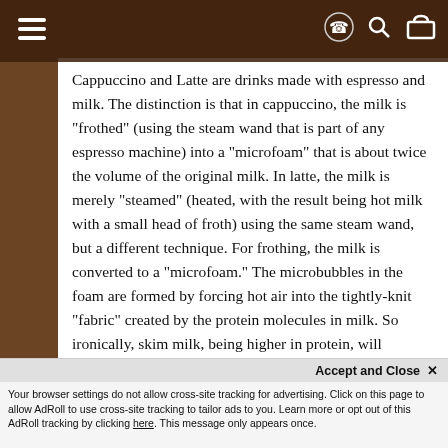[navigation header with hamburger menu and icons]
Cappuccino and Latte are drinks made with espresso and milk. The distinction is that in cappuccino, the milk is "frothed" (using the steam wand that is part of any espresso machine) into a "microfoam" that is about twice the volume of the original milk. In latte, the milk is merely "steamed" (heated, with the result being hot milk with a small head of froth) using the same steam wand, but a different technique. For frothing, the milk is converted to a "microfoam." The microbubbles in the foam are formed by forcing hot air into the tightly-knit "fabric" created by the protein molecules in milk. So ironically, skim milk, being higher in protein, will produce a more voluminous foam than whole milk. For latte, the goal is not to create that much foam, so any type of milk works.
For cappuccino, we start with equal portions of...
Your browser settings do not allow cross-site tracking for advertising. Click on this page to allow AdRoll to use cross-site tracking to tailor ads to you. Learn more or opt out of this AdRoll tracking by clicking here. This message only appears once.